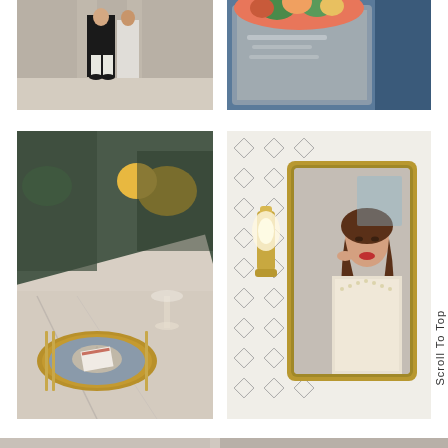[Figure (photo): Couple standing in front of building, person in white pants and dark jacket]
[Figure (photo): Floral arrangement in front of blue-framed mirror with text visible in background]
[Figure (photo): Wedding table setting with gold charger plates, wine glass, folded napkin, and gold cutlery on marble table]
[Figure (photo): Bride applying lipstick reflected in gold-framed mirror, patterned wallpaper background with brass wall sconce]
Scroll To Top
[Figure (photo): Partial bottom strip showing additional wedding photos]